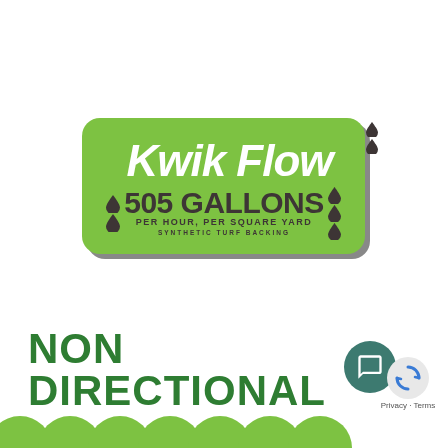[Figure (logo): Green rounded rectangle badge with white italic bold text 'Kwik Flow', dark grey bold text '505 GALLONS', 'PER HOUR, PER SQUARE YARD', 'SYNTHETIC TURF BACKING', with water droplet icons on left and right sides.]
NON DIRECTIONAL
[Figure (illustration): Row of green scallop/semicircle shapes at bottom of image, partially visible. Chat bubble icon in teal circle and browser refresh icon with Privacy - Terms label at bottom right corner.]